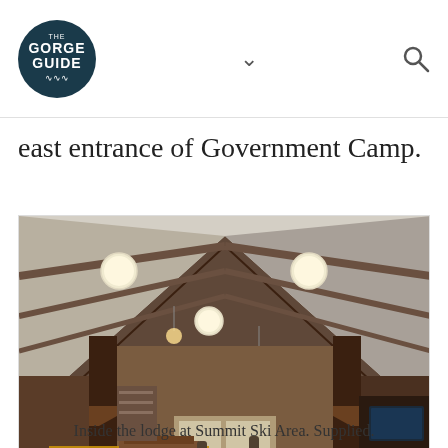The Gorge Guide
east entrance of Government Camp.
[Figure (photo): Interior of the lodge at Summit Ski Area showing wooden tables, benches, high vaulted ceiling with exposed beams and pendant globe lights, wooden walls, and a long central aisle.]
Inside the lodge at Summit Ski Area. Supplied.